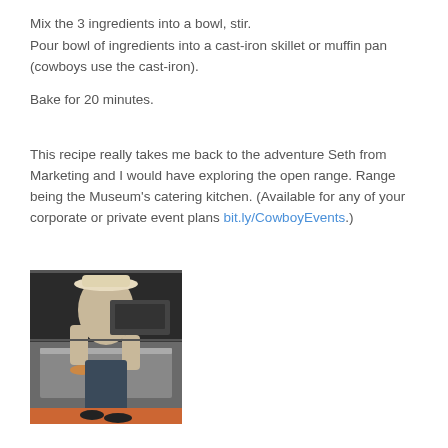Mix the 3 ingredients into a bowl, stir.
Pour bowl of ingredients into a cast-iron skillet or muffin pan (cowboys use the cast-iron).
Bake for 20 minutes.
This recipe really takes me back to the adventure Seth from Marketing and I would have exploring the open range. Range being the Museum's catering kitchen. (Available for any of your corporate or private event plans bit.ly/CowboyEvents.)
[Figure (photo): A person wearing a cowboy hat bending over to place something into a commercial oven in a kitchen.]